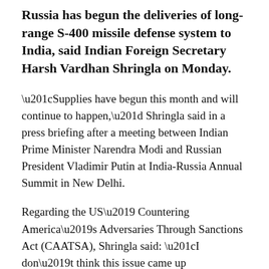Russia has begun the deliveries of long-range S-400 missile defense system to India, said Indian Foreign Secretary Harsh Vardhan Shringla on Monday.
“Supplies have begun this month and will continue to happen,” Shringla said in a press briefing after a meeting between Indian Prime Minister Narendra Modi and Russian President Vladimir Putin at India-Russia Annual Summit in New Delhi.
Regarding the US’ Countering America’s Adversaries Through Sanctions Act (CAATSA), Shringla said: “I don’t think this issue came up ... talking with Russian delegations.”